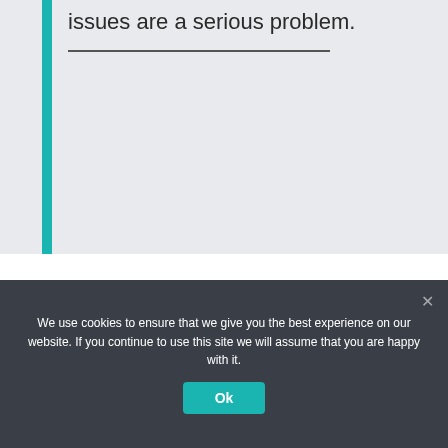issues are a serious problem.
We’ve always dealt with student behavior issues, but many teachers feel behavior issues are on the rise. What we need to
We use cookies to ensure that we give you the best experience on our website. If you continue to use this site we will assume that you are happy with it.